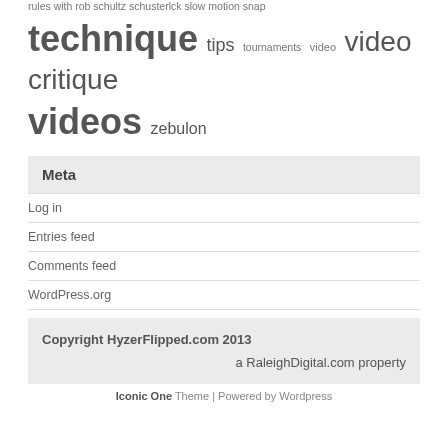rules with rob schultz schusterlck slow motion snap technique tips tournaments video video critique videos zebulon
Meta
Log in
Entries feed
Comments feed
WordPress.org
Copyright HyzerFlipped.com 2013
a RaleighDigital.com property
Iconic One Theme | Powered by Wordpress